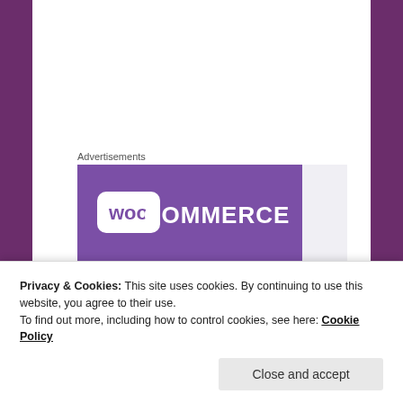Advertisements
[Figure (illustration): WooCommerce advertisement banner showing the WooCommerce logo (purple speech-bubble icon with 'woo' and 'COMMERCE' text) on a purple background with teal and cyan decorative shapes. Text reads: 'How to start selling subscriptions online']
Privacy & Cookies: This site uses cookies. By continuing to use this website, you agree to their use.
To find out more, including how to control cookies, see here: Cookie Policy
Close and accept